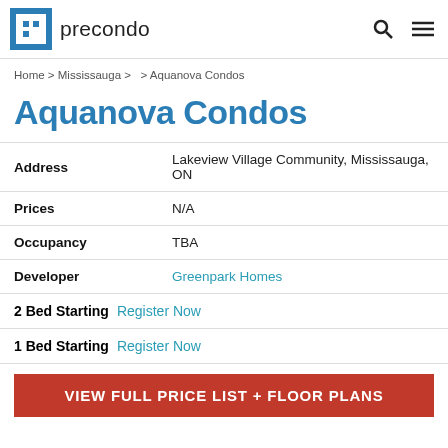precondo
Home > Mississauga > > Aquanova Condos
Aquanova Condos
| Field | Value |
| --- | --- |
| Address | Lakeview Village Community, Mississauga, ON |
| Prices | N/A |
| Occupancy | TBA |
| Developer | Greenpark Homes |
2 Bed Starting Register Now
1 Bed Starting Register Now
VIEW FULL PRICE LIST + FLOOR PLANS